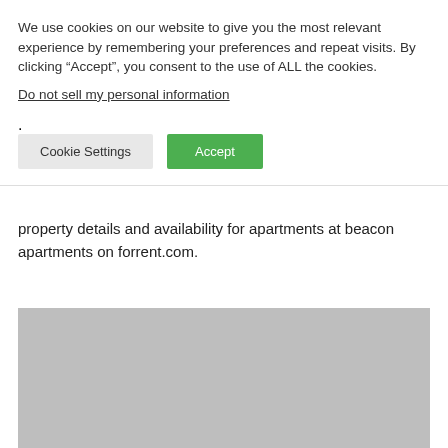We use cookies on our website to give you the most relevant experience by remembering your preferences and repeat visits. By clicking “Accept”, you consent to the use of ALL the cookies.
Do not sell my personal information.
Cookie Settings   Accept
property details and availability for apartments at beacon apartments on forrent.com.
[Figure (photo): Gray placeholder image rectangle]